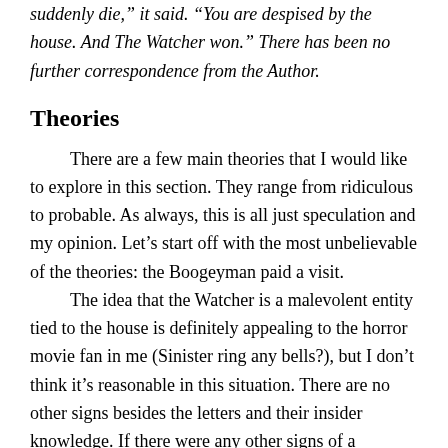suddenly die," it said. "You are despised by the house. And The Watcher won." There has been no further correspondence from the Author.
Theories
There are a few main theories that I would like to explore in this section. They range from ridiculous to probable. As always, this is all just speculation and my opinion. Let’s start off with the most unbelievable of the theories: the Boogeyman paid a visit.
The idea that the Watcher is a malevolent entity tied to the house is definitely appealing to the horror movie fan in me (Sinister ring any bells?), but I don’t think it’s reasonable in this situation. There are no other signs besides the letters and their insider knowledge. If there were any other signs of a haunting (unexplained noises, cold spots, things being moved, etc) or of